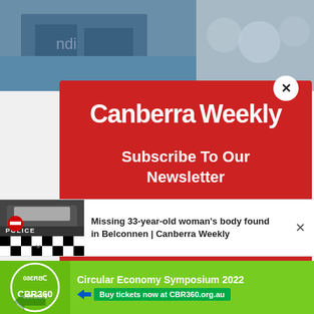[Figure (screenshot): Top portion of a website showing two photo thumbnails side by side - left shows a building/storefront, right shows a blurred background]
Canberra Weekly
Subscribe To Our Newsletter
Join our mailing list to receive the latest news straight to your inbox.
[Figure (screenshot): Notification bar showing police car image with POLICE tape and text: Missing 33-year-old woman's body found in Belconnen | Canberra Weekly]
Missing 33-year-old woman's body found in Belconnen | Canberra Weekly
[Figure (infographic): Green advertisement banner for Circular Economy Symposium 2022 with CBR360 logo and text: Buy tickets now at CBR360.org.au]